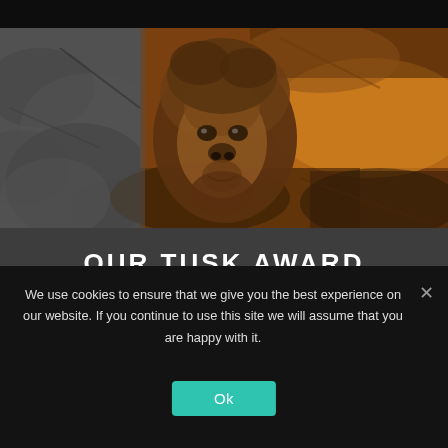[Figure (photo): Primate (orangutan/ape) photo with mixed color treatment: grayscale on left side, orange/sepia tones in center and right, appearing to be in jungle foliage]
OUR TUSK AWARD JUDGES
Our judging panel features some of the leading conservationists in the world
We use cookies to ensure that we give you the best experience on our website. If you continue to use this site we will assume that you are happy with it.